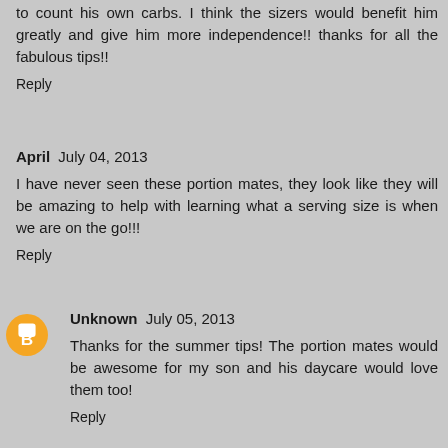to count his own carbs. I think the sizers would benefit him greatly and give him more independence!! thanks for all the fabulous tips!!
Reply
April July 04, 2013
I have never seen these portion mates, they look like they will be amazing to help with learning what a serving size is when we are on the go!!!
Reply
Unknown July 05, 2013
Thanks for the summer tips! The portion mates would be awesome for my son and his daycare would love them too!
Reply